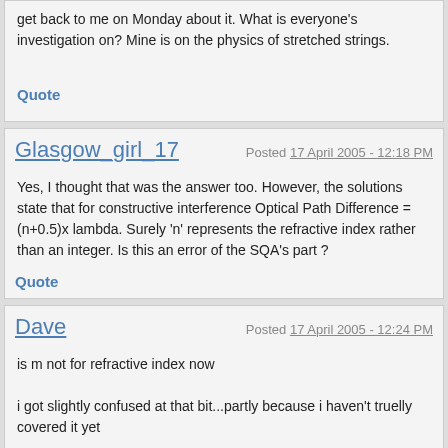get back to me on Monday about it. What is everyone's investigation on? Mine is on the physics of stretched strings.
Quote
Glasgow_girl_17
Posted 17 April 2005 - 12:18 PM
Yes, I thought that was the answer too. However, the solutions state that for constructive interference Optical Path Difference = (n+0.5)x lambda. Surely 'n' represents the refractive index rather than an integer. Is this an error of the SQA's part ?
Quote
Dave
Posted 17 April 2005 - 12:24 PM
is m not for refractive index now
i got slightly confused at that bit...partly because i haven't truelly covered it yet
Quote